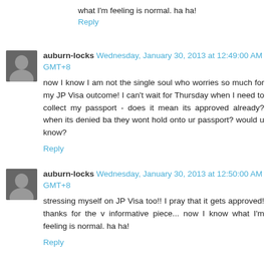what I'm feeling is normal. ha ha!
Reply
auburn-locks Wednesday, January 30, 2013 at 12:49:00 AM GMT+8
now I know I am not the single soul who worries so much for my JP Visa outcome! I can't wait for Thursday when I need to collect my passport - does it mean its approved already? when its denied ba they wont hold onto ur passport? would u know?
Reply
auburn-locks Wednesday, January 30, 2013 at 12:50:00 AM GMT+8
stressing myself on JP Visa too!! I pray that it gets approved! thanks for the v informative piece... now I know what I'm feeling is normal. ha ha!
Reply